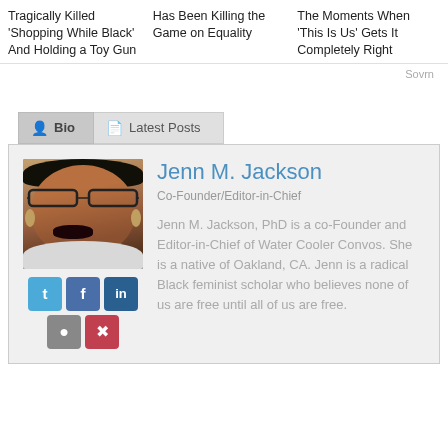Tragically Killed 'Shopping While Black' And Holding a Toy Gun
Has Been Killing the Game on Equality
The Moments When 'This Is Us' Gets It Completely Right
Sovrn
Jenn M. Jackson
Co-Founder/Editor-in-Chief
Jenn M. Jackson, PhD is a co-Founder and Editor-in-Chief of Water Cooler Convos. She is a native of Oakland, CA. Jenn is a radical Black feminist scholar who believes none of us are free until all of us are free.